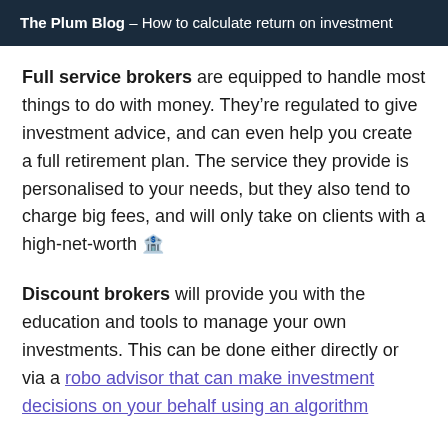The Plum Blog — How to calculate return on investment
Full service brokers are equipped to handle most things to do with money. They're regulated to give investment advice, and can even help you create a full retirement plan. The service they provide is personalised to your needs, but they also tend to charge big fees, and will only take on clients with a high-net-worth 🏦
Discount brokers will provide you with the education and tools to manage your own investments. This can be done either directly or via a robo advisor that can make investment decisions on your behalf using an algorithm